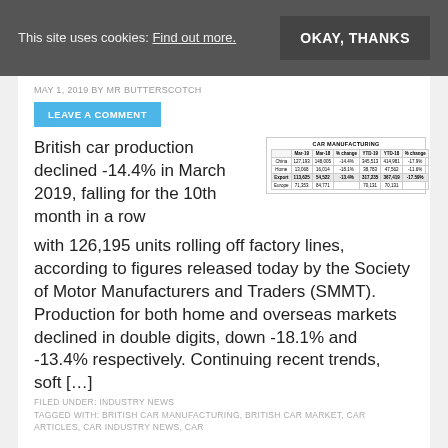This site uses cookies: Find out more. OKAY, THANKS
MAY 1, 2019 BY MR BUTTERSCOTCH
LEAVE A COMMENT
British car production declined -14.4% in March 2019, falling for the 10th month in a row with 126,195 units rolling off factory lines, according to figures released today by the Society of Motor Manufacturers and Traders (SMMT). Production for both home and overseas markets declined in double digits, down -18.1% and -13.4% respectively. Continuing recent trends, soft [...]
[Figure (table-as-image): CAR MANUFACTURING table showing Mar-19, Mar-18, % change, YTD-19, YTD-18, % change columns with rows for China, Home, Export, Europe]
FILED UNDER: INDUSTRY NEWS
TAGGED WITH: BRITISH CAR MANUFACTURING, BRITISH CAR MARKET, CAR ARTICLES, CAR INDUSTRY NEWS, CAR